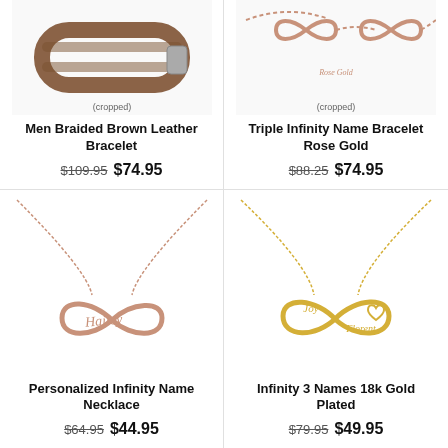[Figure (photo): Men Braided Brown Leather Bracelet product image (cropped top)]
Men Braided Brown Leather Bracelet
$109.95  $74.95
[Figure (photo): Triple Infinity Name Bracelet Rose Gold product image (cropped top)]
Triple Infinity Name Bracelet Rose Gold
$88.25  $74.95
[Figure (photo): Personalized Infinity Name Necklace product image - rose gold infinity necklace with name Hailey]
Personalized Infinity Name Necklace
$64.95  $44.95
[Figure (photo): Infinity 3 Names 18k Gold Plated necklace with names Joy and Florent and heart cutout]
Infinity 3 Names 18k Gold Plated
$79.95  $49.95